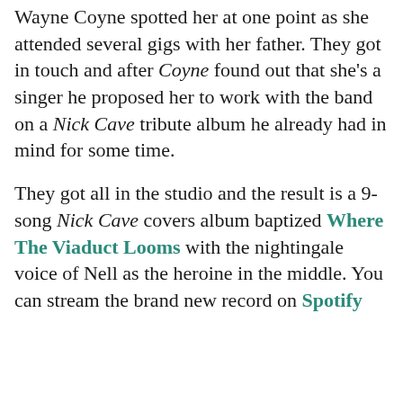Wayne Coyne spotted her at one point as she attended several gigs with her father. They got in touch and after Coyne found out that she's a singer he proposed her to work with the band on a Nick Cave tribute album he already had in mind for some time.

They got all in the studio and the result is a 9-song Nick Cave covers album baptized Where The Viaduct Looms with the nightingale voice of Nell as the heroine in the middle. You can stream the brand new record on Spotify